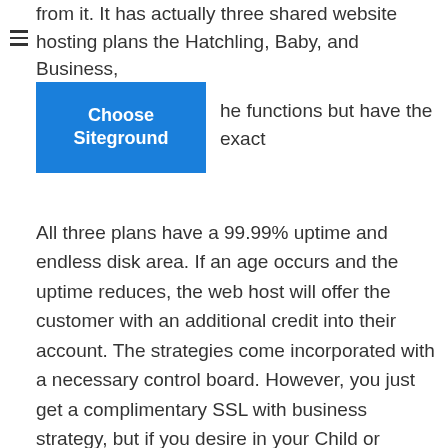from it. It has actually three shared website hosting plans the Hatchling, Baby, and Business,
[Figure (other): Blue button with white bold text reading 'Choose Siteground']
he functions but have the exact
All three plans have a 99.99% uptime and endless disk area. If an age occurs and the uptime reduces, the web host will offer the customer with an additional credit into their account. The strategies come incorporated with a necessary control board. However, you just get a complimentary SSL with business strategy, but if you desire in your Child or Hatchling account, you have to pick it as an add-on.
...